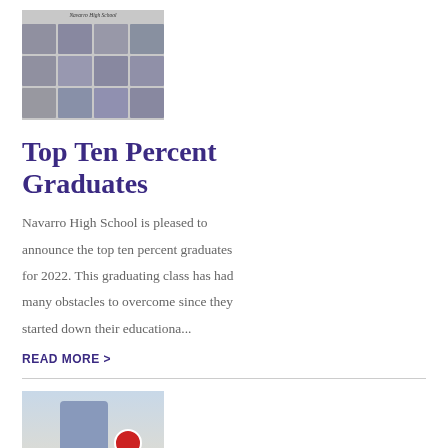[Figure (photo): Thumbnail image showing a grid of student portraits labeled 'Top 10% Graduates 2022']
Top Ten Percent Graduates
Navarro High School is pleased to announce the top ten percent graduates for 2022. This graduating class has had many obstacles to overcome since they started down their educationa...
READ MORE >
[Figure (photo): Thumbnail photo of a child holding a circular badge/sign]
Access Your Child's